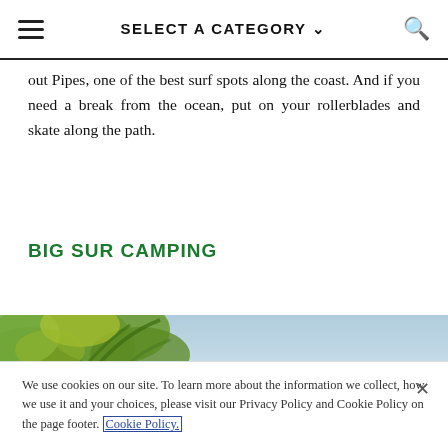SELECT A CATEGORY
out Pipes, one of the best surf spots along the coast. And if you need a break from the ocean, put on your rollerblades and skate along the path.
BIG SUR CAMPING
[Figure (photo): Photo of tropical palm trees against a blue sky, partially visible at the bottom of the page content area.]
We use cookies on our site. To learn more about the information we collect, how we use it and your choices, please visit our Privacy Policy and Cookie Policy on the page footer. Cookie Policy.